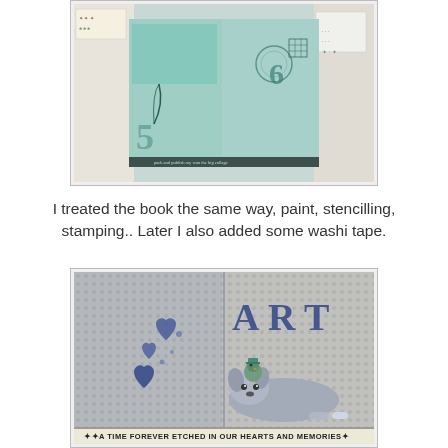[Figure (photo): Open art journal/book spread showing painted teal and green pages with stamped numbers, patterns, stencilling and decorative elements. Surrounding papers and stamps visible. Text along bottom reads 'pack and publish ray won the big collage'.]
I treated the book the same way, paint, stencilling, stamping.. Later I also added some washi tape.
[Figure (photo): Art journal book cover showing both front and back. Blue/grey patterned background with blue heart stamps on left side and large blue 'ART' letters on right. A drawn dog lying down with a small bird/creature on its head. Text along bottom reads 'A TIME FOREVER ETCHED IN OUR HEARTS AND MEMORIES'.]